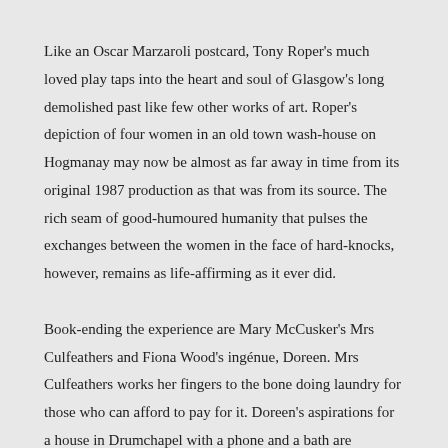Like an Oscar Marzaroli postcard, Tony Roper's much loved play taps into the heart and soul of Glasgow's long demolished past like few other works of art. Roper's depiction of four women in an old town wash-house on Hogmanay may now be almost as far away in time from its original 1987 production as that was from its source. The rich seam of good-humoured humanity that pulses the exchanges between the women in the face of hard-knocks, however, remains as life-affirming as it ever did.
Book-ending the experience are Mary McCusker's Mrs Culfeathers and Fiona Wood's ingénue, Doreen. Mrs Culfeathers works her fingers to the bone doing laundry for those who can afford to pay for it. Doreen's aspirations for a house in Drumchapel with a phone and a bath are destined for disappointment. Magrit and Dolly - played by real life comedy partners Louise McCarthy and Gayle Telfer Stevens - spar